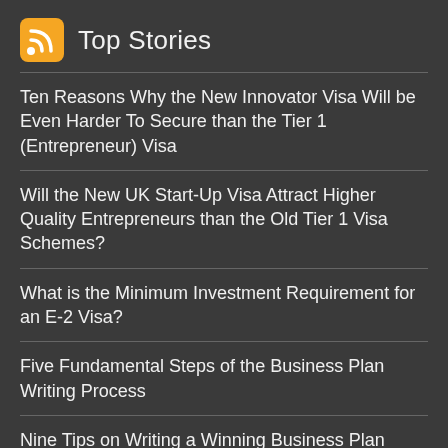Top Stories
Ten Reasons Why the New Innovator Visa Will be Even Harder To Secure than the Tier 1 (Entrepreneur) Visa
Will the New UK Start-Up Visa Attract Higher Quality Entrepreneurs than the Old Tier 1 Visa Schemes?
What is the Minimum Investment Requirement for an E-2 Visa?
Five Fundamental Steps of the Business Plan Writing Process
Nine Tips on Writing a Winning Business Plan